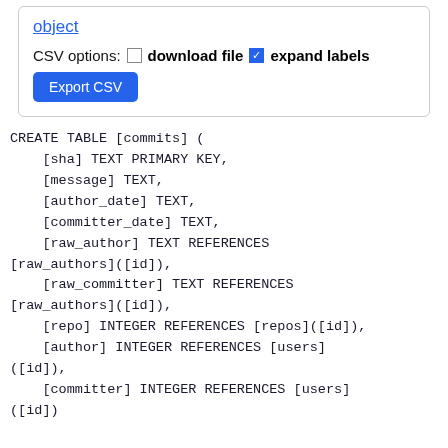object
CSV options: [ ] download file [✓] expand labels
Export CSV